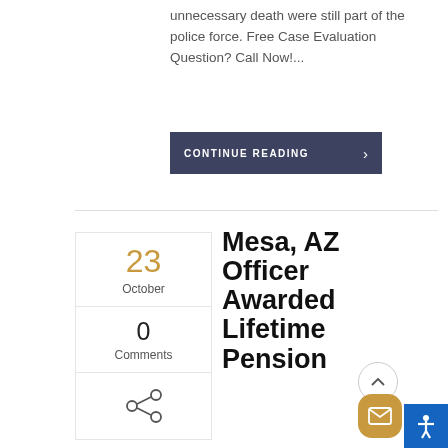unnecessary death were still part of the police force. Free Case Evaluation Question? Call Now!...
CONTINUE READING
23 October
0 Comments
Mesa, AZ Officer Awarded Lifetime Pension